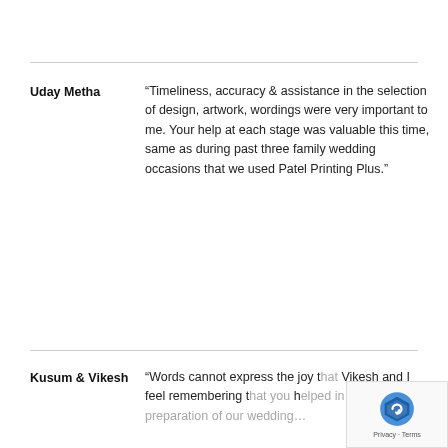Uday Metha
“Timeliness, accuracy & assistance in the selection of design, artwork, wordings were very important to me. Your help at each stage was valuable this time, same as during past three family wedding occasions that we used Patel Printing Plus.”
Kusum & Vikesh
“Words cannot express the joy that Vikesh and I feel remembering that you helped in the preparation of our wedding…”